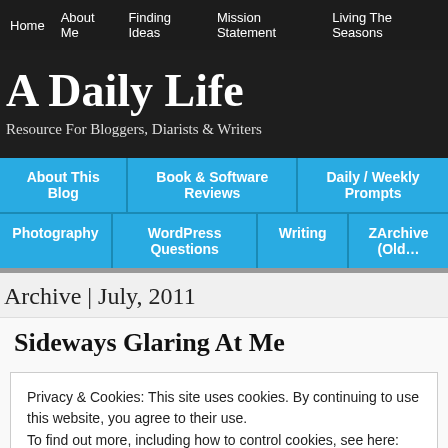Home | About Me | Finding Ideas | Mission Statement | Living The Seasons
A Daily Life
Resource For Bloggers, Diarists & Writers
About This Blog | Book & Software Reviews | Daily / Weekly Prompts
Photography | WordPress Questions | Writing | ZArchive (Old…)
Archive | July, 2011
Sideways Glaring At Me
Privacy & Cookies: This site uses cookies. By continuing to use this website, you agree to their use.
To find out more, including how to control cookies, see here: Cookie Policy
Close and accept
sideways and glare at us.  Momma [...]